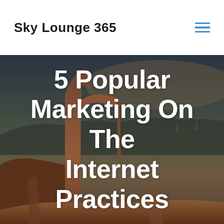Sky Lounge 365
[Figure (photo): Desert rock arch landscape at dusk with reddish sandstone formations against a dusky golden-blue sky, similar to Delicate Arch in Arches National Park, Utah]
5 Popular Marketing On The Internet Practices